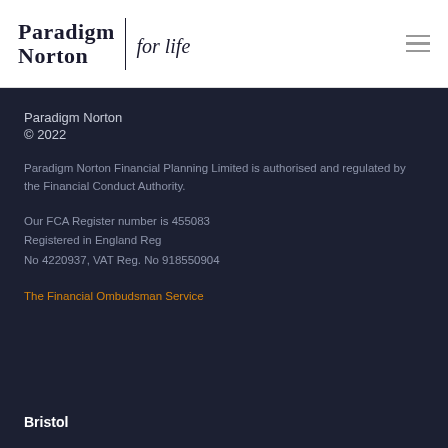[Figure (logo): Paradigm Norton 'for life' logo with vertical divider bar, and hamburger menu icon on the right]
Paradigm Norton
© 2022
Paradigm Norton Financial Planning Limited is authorised and regulated by the Financial Conduct Authority.
Our FCA Register number is 455083
Registered in England Reg
No 4220937, VAT Reg. No 918550904
The Financial Ombudsman Service
Bristol